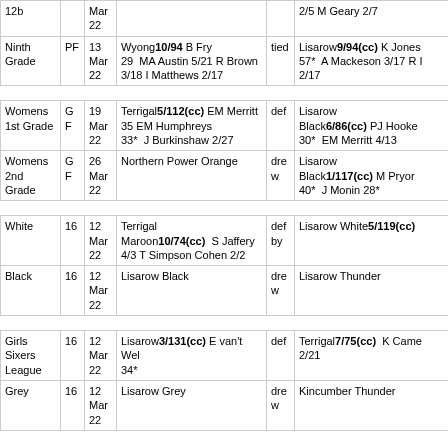| Grade | Type | Date | Team 1 | Result | Team 2 |
| --- | --- | --- | --- | --- | --- |
| 12b |  | Mar 22 |  |  | 2/5 M Geary 2/7 |
| Ninth Grade | PF | 13 Mar 22 | Wyong 10/94 B Fry 29 MA Austin 5/21 R Brown 3/18 I Matthews 2/17 | tied | Lisarow 9/94(cc) K Jones 57* A Mackeson 3/17 R ... 2/17 |
| Womens 1st Grade | GF | 19 Mar 22 | Terrigal 5/112(cc) EM Merritt 35 EM Humphreys 33* J Burkinshaw 2/27 | def | Lisarow Black 6/86(cc) PJ Hooke 30* EM Merritt 4/13 |
| Womens 2nd Grade | GF | 26 Mar 22 | Northern Power Orange | drew | Lisarow Black 1/117(cc) M Pryor 40* J Monin 28* |
| White | 16 | 12 Mar 22 | Terrigal Maroon 10/74(cc) S Jaffery 4/3 T Simpson Cohen 2/2 | def by | Lisarow White 5/119(cc) |
| Black | 16 | 12 Mar 22 | Lisarow Black | drew | Lisarow Thunder |
| Girls Sixers League | 16 | 12 Mar 22 | Lisarow 3/131(cc) E van't Wel 34* | def | Terrigal 7/75(cc) K Came... 2/21 |
| Grey | 16 | 12 Mar 22 | Lisarow Grey | drew | Kincumber Thunder |